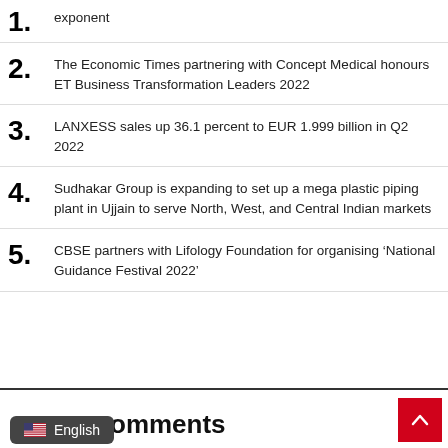exponent
The Economic Times partnering with Concept Medical honours ET Business Transformation Leaders 2022
LANXESS sales up 36.1 percent to EUR 1.999 billion in Q2 2022
Sudhakar Group is expanding to set up a mega plastic piping plant in Ujjain to serve North, West, and Central Indian markets
CBSE partners with Lifology Foundation for organising ‘National Guidance Festival 2022’
English   omments